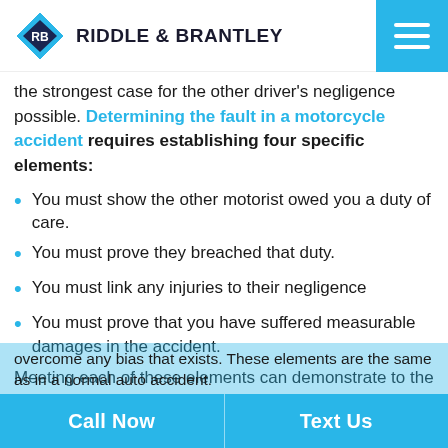Riddle & Brantley
the strongest case for the other driver's negligence possible. Determining the fault in a motorcycle accident requires establishing four specific elements:
You must show the other motorist owed you a duty of care.
You must prove they breached that duty.
You must link any injuries to their negligence
You must prove that you have suffered measurable damages in the accident.
Meeting each of these elements can demonstrate to the jury that the other party was at fault and help them overcome any bias that exists. These elements are the same as in a normal auto accident.
Call Now | Text Us